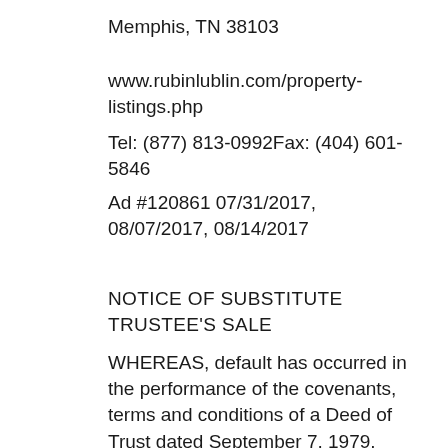Memphis, TN 38103
www.rubinlublin.com/property-listings.php
Tel: (877) 813-0992Fax: (404) 601-5846
Ad #120861 07/31/2017, 08/07/2017, 08/14/2017
NOTICE OF SUBSTITUTE TRUSTEE'S SALE
WHEREAS, default has occurred in the performance of the covenants, terms and conditions of a Deed of Trust dated September 7, 1979, executed by Hurdle Helton, Jr. and Debra Helton, conveying certain real property